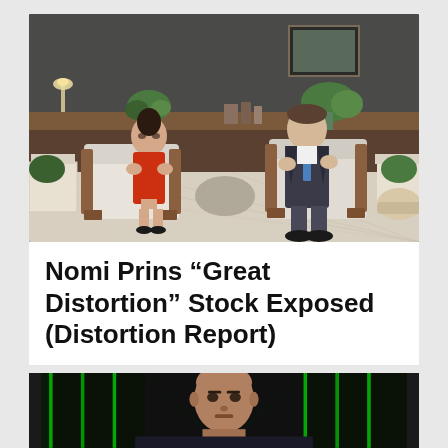[Figure (photo): Two people sitting in chairs in a studio setting — a woman in a red dress on the left and a man in a dark suit with blue tie on the right, appearing to have a conversation. Background shows a modern interior with shelving, plants, and warm lighting.]
Nomi Prins “Great Distortion” Stock Exposed (Distortion Report)
[Figure (photo): A bald man facing the camera, positioned in a corridor with green-lit server racks or data center equipment in the background.]